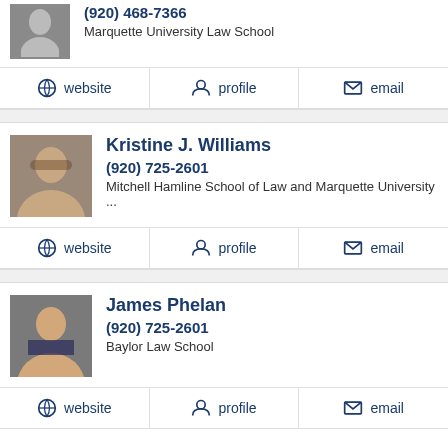(920) 468-7366
Marquette University Law School
website  profile  email
Kristine J. Williams
(920) 725-2601
Mitchell Hamline School of Law and Marquette University ...
website  profile  email
James Phelan
(920) 725-2601
Baylor Law School
website  profile  email